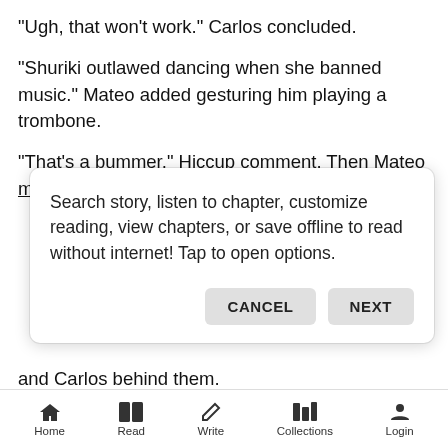"Ugh, that won't work." Carlos concluded.
"Shuriki outlawed dancing when she banned music." Mateo added gesturing him playing a trombone.
"That's a bummer." Hiccup comment. Then Mateo made a dance stance.
[Figure (screenshot): Dialog box with message: Search story, listen to chapter, customize reading, view chapters, or save offline to read without internet! Tap to open options. With CANCEL and NEXT buttons.]
and Carlos behind them.
"We?" Mateo questioned before he yelped as Sofia continued to drag him to the stairs.
Home   Read   Write   Collections   Login